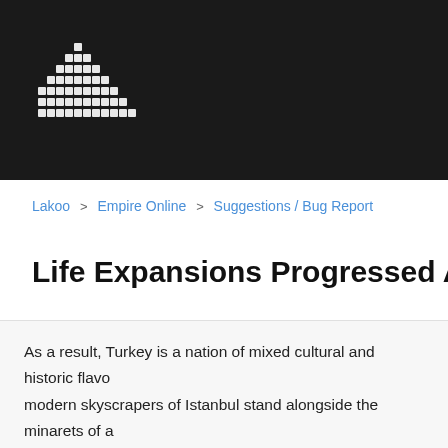[Figure (logo): Pixel-art dots logo on dark header bar]
Lakoo > Empire Online > Suggestions / Bug Report
Life Expansions Progressed Anti - Adipocy
As a result, Turkey is a nation of mixed cultural and historic flavo... modern skyscrapers of Istanbul stand alongside the minarets of a... where holiday makers can experience a whole host of flavours, s... short visit. The resort has a variety of hotels and self catering ap-